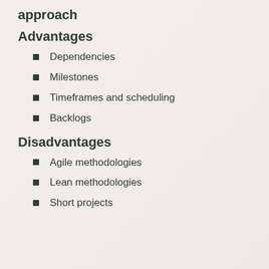approach
Advantages
Dependencies
Milestones
Timeframes and scheduling
Backlogs
Disadvantages
Agile methodologies
Lean methodologies
Short projects